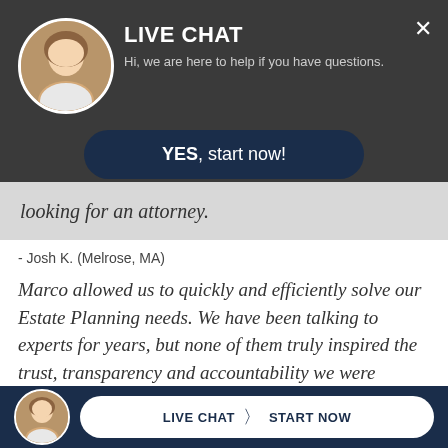[Figure (screenshot): Live chat widget overlay with dark header, avatar photo, YES start now button, testimonial text, and bottom chat bar]
LIVE CHAT
Hi, we are here to help if you have questions.
YES, start now!
looking for an attorney.
- Josh K. (Melrose, MA)
Marco allowed us to quickly and efficiently solve our Estate Planning needs. We have been talking to experts for years, but none of them truly inspired the trust, transparency and accountability we were looking for.
LIVE CHAT  START NOW